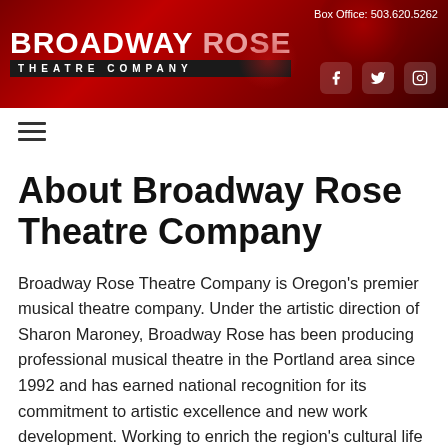Box Office: 503.620.5262 | Broadway Rose Theatre Company
[Figure (logo): Broadway Rose Theatre Company logo — white bold text on dark red gradient background with social media icons (Facebook, Twitter, Instagram)]
About Broadway Rose Theatre Company
Broadway Rose Theatre Company is Oregon's premier musical theatre company. Under the artistic direction of Sharon Maroney, Broadway Rose has been producing professional musical theatre in the Portland area since 1992 and has earned national recognition for its commitment to artistic excellence and new work development. Working to enrich the region's cultural life and increase opportunities for Oregonians to participate in the arts, the company presents a variety of mainstage productions throughout the year as well as summer children's